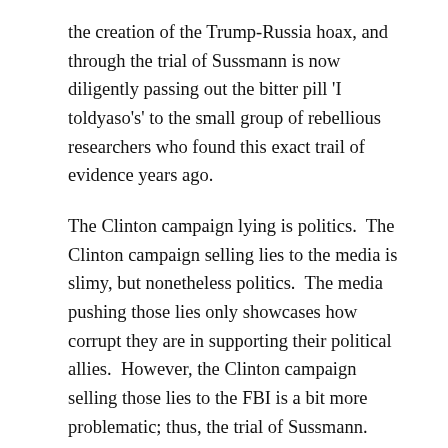the creation of the Trump-Russia hoax, and through the trial of Sussmann is now diligently passing out the bitter pill 'I toldyaso's' to the small group of rebellious researchers who found this exact trail of evidence years ago.
The Clinton campaign lying is politics.  The Clinton campaign selling lies to the media is slimy, but nonetheless politics.  The media pushing those lies only showcases how corrupt they are in supporting their political allies.  However, the Clinton campaign selling those lies to the FBI is a bit more problematic; thus, the trial of Sussmann.
Keep reading